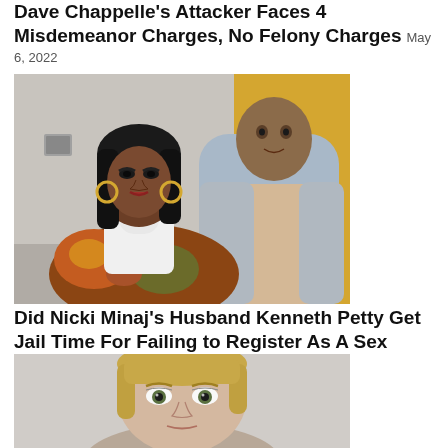Dave Chappelle's Attacker Faces 4 Misdemeanor Charges, No Felony Charges May 6, 2022
[Figure (photo): Photo of two people posing together — a woman with long dark hair, dramatic makeup, large hoop earrings, and a colorful floral jacket; a man in a beige hoodie and grey hoodie layered, standing against a yellow wall.]
Did Nicki Minaj's Husband Kenneth Petty Get Jail Time For Failing to Register As A Sex Offender? July 6, 2022
[Figure (photo): Mugshot-style photo of a blonde woman with light skin, looking straight ahead with wide eyes.]